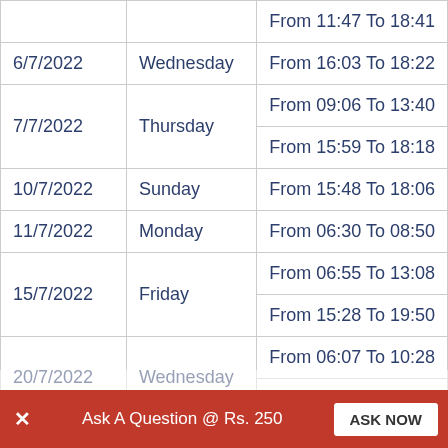| Date | Day | Time |
| --- | --- | --- |
|  |  | From 11:47 To 18:41 |
| 6/7/2022 | Wednesday | From 16:03 To 18:22 |
| 7/7/2022 | Thursday | From 09:06 To 13:40 |
|  |  | From 15:59 To 18:18 |
| 10/7/2022 | Sunday | From 15:48 To 18:06 |
| 11/7/2022 | Monday | From 06:30 To 08:50 |
| 15/7/2022 | Friday | From 06:55 To 13:08 |
|  |  | From 15:28 To 19:50 |
| 20/7/2022 | Wednesday | From 06:07 To 10:28 |
|  |  | From 10:33 To 10:31 |
Ask A Question @ Rs. 250  ASK NOW